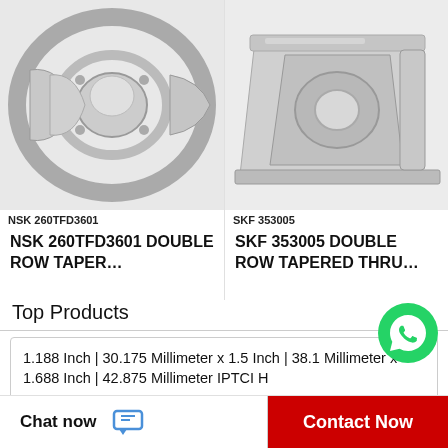[Figure (photo): Photo of NSK 260TFD3601 double row tapered bearing, silver/chrome colored, on white background]
NSK 260TFD3601
NSK 260TFD3601 DOUBLE ROW TAPER…
[Figure (photo): Photo of SKF 353005 double row tapered thrust bearing, silver/chrome colored, on white background]
SKF 353005
SKF 353005 DOUBLE ROW TAPERED THRU…
Top Products
1.188 Inch | 30.175 Millimeter x 1.5 Inch | 38.1 Millimeter x 1.688 Inch | 42.875 Millimeter IPTCI H
SKF 6002-2RSH/W64 Single Row Ball Bearings
Vickers PV062R9K1T1NEER4211K0167 Piston…
[Figure (logo): WhatsApp green circle logo]
WhatsApp Online
Chat now
Contact Now